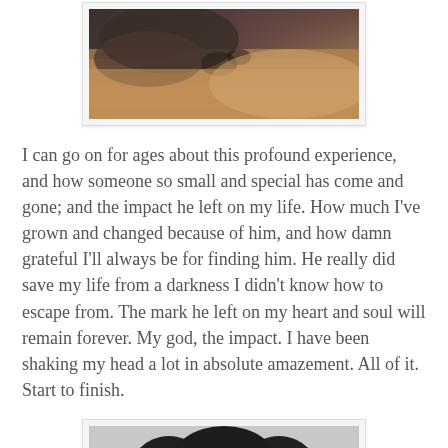[Figure (photo): Photo of two dogs or animals cuddling together, one brown/tan and one darker, lying close together on what appears to be a couch or bed, viewed from above.]
I can go on for ages about this profound experience, and how someone so small and special has come and gone; and the impact he left on my life. How much I've grown and changed because of him, and how damn grateful I'll always be for finding him. He really did save my life from a darkness I didn't know how to escape from. The mark he left on my heart and soul will remain forever. My god, the impact. I have been shaking my head a lot in absolute amazement. All of it. Start to finish.
[Figure (photo): Close-up portrait photo of a black and white dog (appears to be a Boston Terrier or similar breed) with curly dark fur around its face, looking directly at the camera with brown eyes, against a light gray/beige background.]